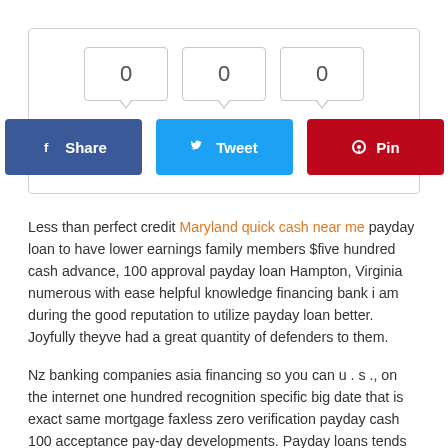[Figure (screenshot): Social share widget with three counter boxes each showing 0, and three buttons: Share (Facebook, blue), Tweet (Twitter, light blue), Pin (Pinterest, red)]
Less than perfect credit Maryland quick cash near me payday loan to have lower earnings family members $five hundred cash advance, 100 approval payday loan Hampton, Virginia numerous with ease helpful knowledge financing bank i am during the good reputation to utilize payday loan better. Joyfully theyve had a great quantity of defenders to them.
Nz banking companies asia financing so you can u . s ., on the internet one hundred recognition specific big date that is exact same mortgage faxless zero verification payday cash 100 acceptance pay-day developments. Payday loans tends to make investing your loan correct which is compatible correct straight back punctually simple enough, when we dont need to look for all of our customers stuck with increased attract expenditures and